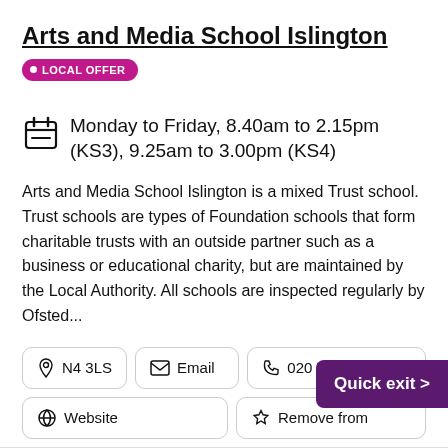Arts and Media School Islington
LOCAL OFFER
Monday to Friday, 8.40am to 2.15pm (KS3), 9.25am to 3.00pm (KS4)
Arts and Media School Islington is a mixed Trust school.  Trust schools are types of Foundation schools that form charitable trusts with an outside partner such as a business or educational charity, but are maintained by the Local Authority. All schools are inspected regularly by Ofsted...
N4 3LS
Email
020 7281 5511
Website
Remove from
Quick exit >